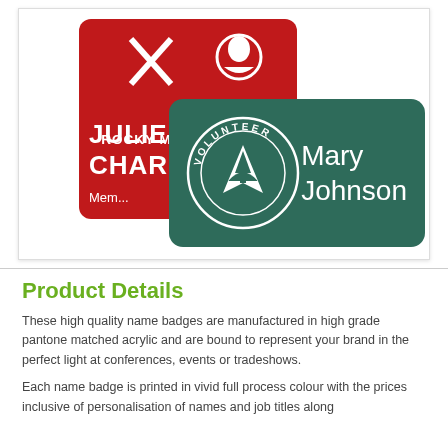[Figure (photo): Two name badges overlapping. Background red badge shows Rocky Mountain PBS branding with name 'JULIE CHARLES' and 'Member'. Foreground dark green badge shows National Park Service Volunteer badge with name 'Mary Johnson'.]
Product Details
These high quality name badges are manufactured in high grade pantone matched acrylic and are bound to represent your brand in the perfect light at conferences, events or tradeshows.
Each name badge is printed in vivid full process colour with the prices inclusive of personalisation of names and job titles along